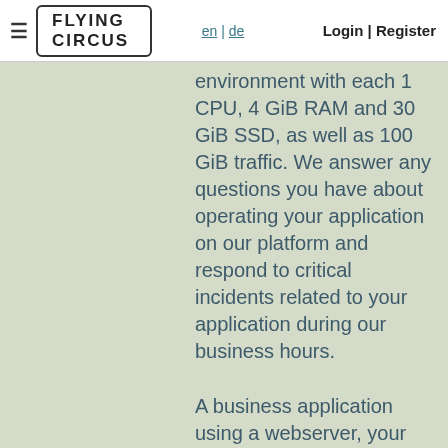FLYING CIRCUS | en | de | Login | Register
environment with each 1 CPU, 4 GiB RAM and 30 GiB SSD, as well as 100 GiB traffic. We answer any questions you have about operating your application on our platform and respond to critical incidents related to your application during our business hours.
A business application using a webserver, your application, a